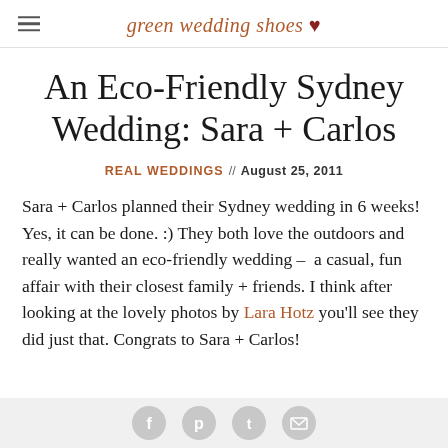green wedding shoes ♥
An Eco-Friendly Sydney Wedding: Sara + Carlos
REAL WEDDINGS // August 25, 2011
Sara + Carlos planned their Sydney wedding in 6 weeks! Yes, it can be done. :) They both love the outdoors and really wanted an eco-friendly wedding –  a casual, fun affair with their closest family + friends. I think after looking at the lovely photos by Lara Hotz you'll see they did just that. Congrats to Sara + Carlos!